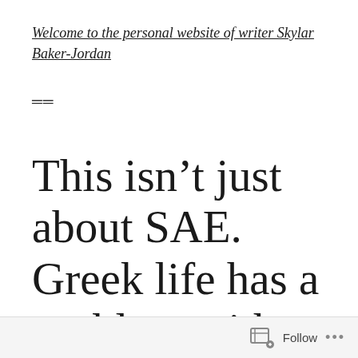Welcome to the personal website of writer Skylar Baker-Jordan
≡
This isn't just about SAE. Greek life has a problem with racism.
Follow